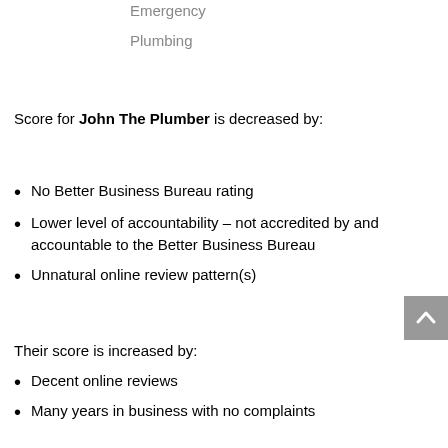Emergency
Plumbing
Score for John The Plumber is decreased by:
No Better Business Bureau rating
Lower level of accountability – not accredited by and accountable to the Better Business Bureau
Unnatural online review pattern(s)
Their score is increased by:
Decent online reviews
Many years in business with no complaints
Excellently established Management